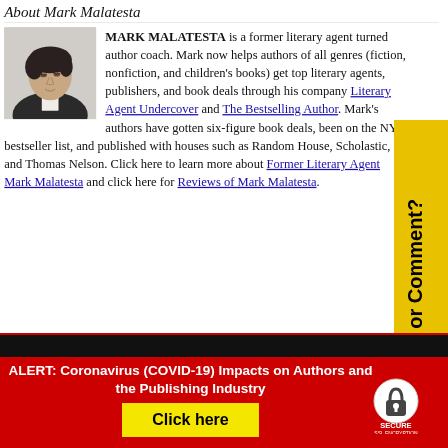About Mark Malatesta
[Figure (photo): Black and white photo of Mark Malatesta, a young man in a suit looking downward]
MARK MALATESTA is a former literary agent turned author coach. Mark now helps authors of all genres (fiction, nonfiction, and children's books) get top literary agents, publishers, and book deals through his company Literary Agent Undercover and The Bestselling Author. Mark's authors have gotten six-figure book deals, been on the NYT bestseller list, and published with houses such as Random House, Scholastic, and Thomas Nelson. Click here to learn more about Former Literary Agent Mark Malatesta and click here for Reviews of Mark Malatesta.
Question or Comment?
ALERT: Coronavirus (COVID-19) Impacts on Authors and the Publishing Industry
Click here
[Figure (logo): Secure SSL Encryption badge with padlock icon]